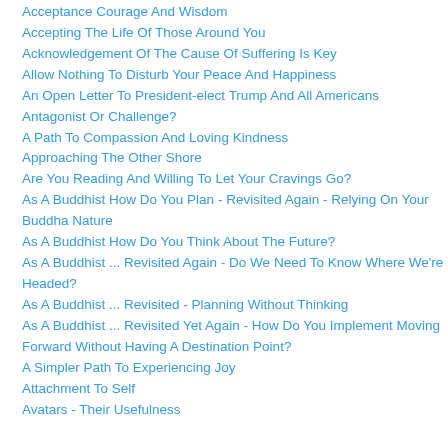Acceptance Courage And Wisdom
Accepting The Life Of Those Around You
Acknowledgement Of The Cause Of Suffering Is Key
Allow Nothing To Disturb Your Peace And Happiness
An Open Letter To President-elect Trump And All Americans
Antagonist Or Challenge?
A Path To Compassion And Loving Kindness
Approaching The Other Shore
Are You Reading And Willing To Let Your Cravings Go?
As A Buddhist How Do You Plan - Revisited Again - Relying On Your Buddha Nature
As A Buddhist How Do You Think About The Future?
As A Buddhist ... Revisited Again - Do We Need To Know Where We're Headed?
As A Buddhist ... Revisited - Planning Without Thinking
As A Buddhist ... Revisited Yet Again - How Do You Implement Moving Forward Without Having A Destination Point?
A Simpler Path To Experiencing Joy
Attachment To Self
Avatars - Their Usefulness